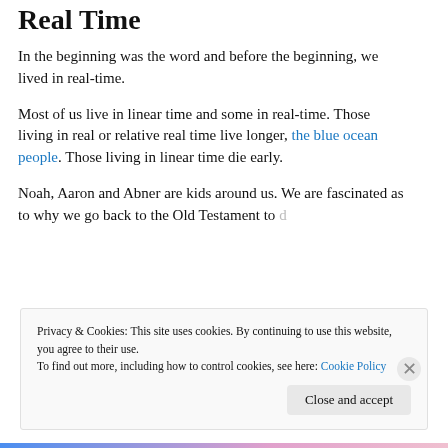Real Time
In the beginning was the word and before the beginning, we lived in real-time.
Most of us live in linear time and some in real-time. Those living in real or relative real time live longer, the blue ocean people. Those living in linear time die early.
Noah, Aaron and Abner are kids around us. We are fascinated as to why we go back to the Old Testament to
Privacy & Cookies: This site uses cookies. By continuing to use this website, you agree to their use.
To find out more, including how to control cookies, see here: Cookie Policy
Close and accept